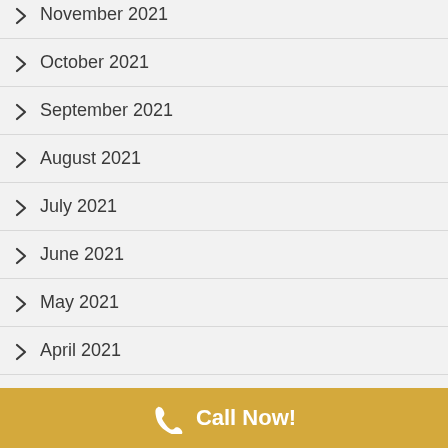November 2021
October 2021
September 2021
August 2021
July 2021
June 2021
May 2021
April 2021
March 2021
Call Now!